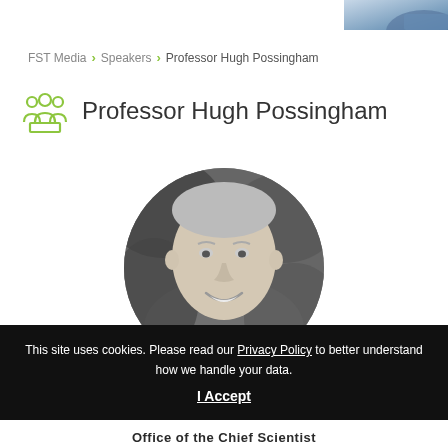[Figure (photo): Partial photo of a person in the top-right corner, showing shoulders and lower face area, cropped screenshot artifact]
FST Media > Speakers > Professor Hugh Possingham
Professor Hugh Possingham
[Figure (photo): Black and white circular portrait photo of Professor Hugh Possingham, a middle-aged man smiling outdoors]
This site uses cookies. Please read our Privacy Policy to better understand how we handle your data.
I Accept
Office of the Chief Scientist